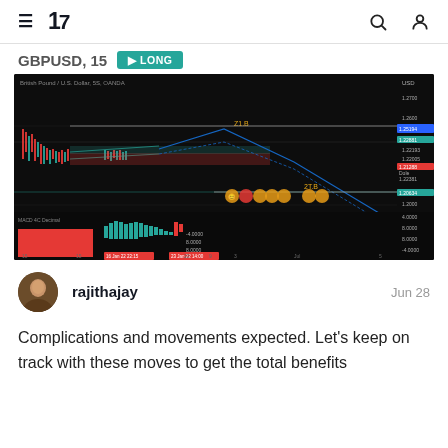TradingView navigation bar with hamburger menu, TV logo, search and user icons
GBPUSD, 15 LONG
[Figure (screenshot): TradingView chart of British Pound / U.S. Dollar, 5S OANDA on dark background. Shows candlestick price action with MACD indicator at the bottom. Price levels annotated with horizontal lines including 1.21B and 2EB labels. A triangle/wedge pattern drawn with blue lines showing expected movement up then down. Red/green MACD histogram visible at bottom with timestamps 16 Jan 22 22:15 and 23 Jan 22 14:00 marked.]
rajithajay
Jun 28
Complications and movements expected. Let's keep on track with these moves to get the total benefits